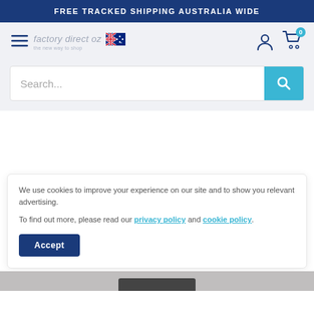FREE TRACKED SHIPPING AUSTRALIA WIDE
[Figure (logo): Factory Direct Oz logo with Australian flag and hamburger menu, user and cart icons]
Search...
We use cookies to improve your experience on our site and to show you relevant advertising.
To find out more, please read our privacy policy and cookie policy.
Accept